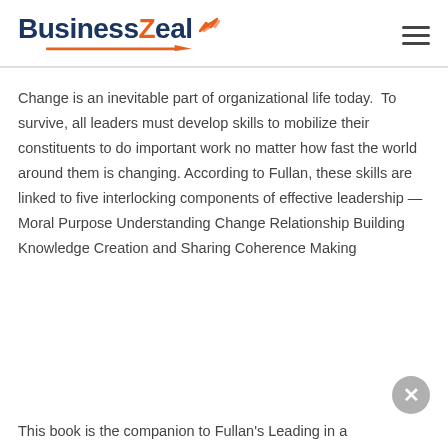BusinessZeal
Change is an inevitable part of organizational life today.  To survive, all leaders must develop skills to mobilize their constituents to do important work no matter how fast the world around them is changing. According to Fullan, these skills are linked to five interlocking components of effective leadership — Moral Purpose Understanding Change Relationship Building Knowledge Creation and Sharing Coherence Making
This book is the companion to Fullan's Leading in a